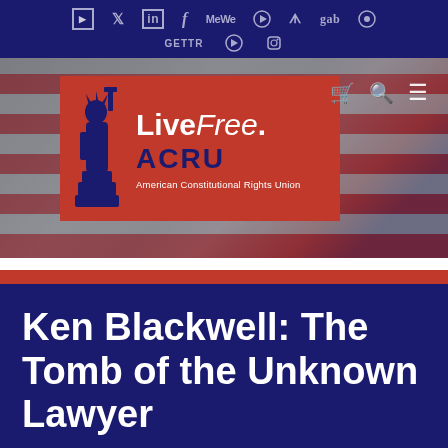Social media icons bar: YouTube, Twitter, LinkedIn, Facebook, MeWe, Telegram, Parler, Gab, WhatsApp, GETTR, Rumble, Instagram
[Figure (logo): ACRU LiveFree. logo with Statue of Liberty on red background. Text: Live Free. ACRU American Constitutional Rights Union]
[Figure (photo): American flag background banner with navigation icons (cart, search, menu)]
Ken Blackwell: The Tomb of the Unknown Lawyer